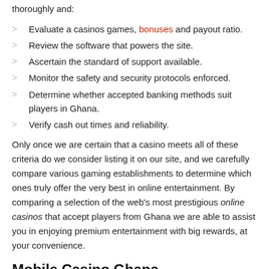thoroughly and:
Evaluate a casinos games, bonuses and payout ratio.
Review the software that powers the site.
Ascertain the standard of support available.
Monitor the safety and security protocols enforced.
Determine whether accepted banking methods suit players in Ghana.
Verify cash out times and reliability.
Only once we are certain that a casino meets all of these criteria do we consider listing it on our site, and we carefully compare various gaming establishments to determine which ones truly offer the very best in online entertainment. By comparing a selection of the web's most prestigious online casinos that accept players from Ghana we are able to assist you in enjoying premium entertainment with big rewards, at your convenience.
Mobile Casino Ghana